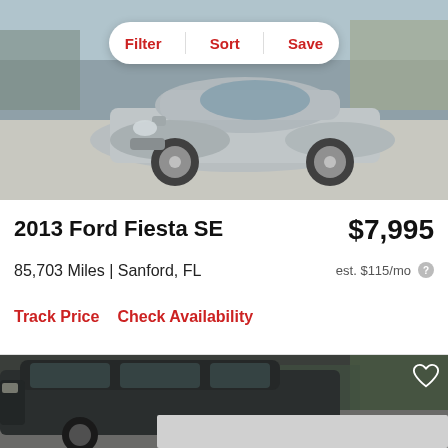[Figure (photo): Silver Ford Fiesta SE photographed outdoors in a parking area, front three-quarter view. A filter/sort/save toolbar appears overlaid at the top of the image.]
2013 Ford Fiesta SE
$7,995
85,703 Miles | Sanford, FL
est. $115/mo
Track Price    Check Availability
[Figure (photo): Dark colored SUV or truck photographed outdoors near trees, partial view showing the front and side. A heart/save icon appears in the upper right corner. Bottom portion shows a grey placeholder area.]